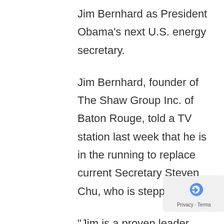Jim Bernhard as President Obama's next U.S. energy secretary.
Jim Bernhard, founder of The Shaw Group Inc. of Baton Rouge, told a TV station last week that he is in the running to replace current Secretary Steven Chu, who is stepping down.
"Jim is a proven leader whose relevant experience and skill make him a top contender for this critical role, especially as America continues to fight to become energy independent," said Alexander, R-